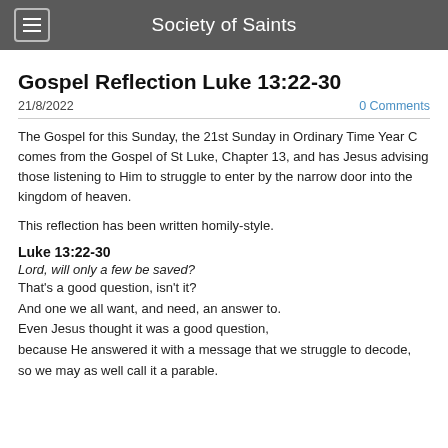Society of Saints
Gospel Reflection Luke 13:22-30
21/8/2022
0 Comments
The Gospel for this Sunday, the 21st Sunday in Ordinary Time Year C comes from the Gospel of St Luke, Chapter 13, and has Jesus advising those listening to Him to struggle to enter by the narrow door into the kingdom of heaven.
This reflection has been written homily-style.
Luke 13:22-30
Lord, will only a few be saved?
That's a good question, isn't it?
And one we all want, and need, an answer to.
Even Jesus thought it was a good question,
because He answered it with a message that we struggle to decode,
so we may as well call it a parable.